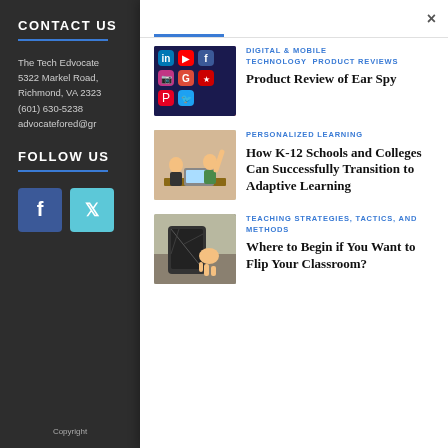CONTACT US
The Tech Edvocate
5322 Markel Road,
Richmond, VA 2323
(601) 630-5238
advocatefored@gr
FOLLOW US
[Figure (screenshot): Social media app icons on a dark background]
DIGITAL & MOBILE TECHNOLOGY
PRODUCT REVIEWS
Product Review of Ear Spy
[Figure (photo): Two children excited in front of a laptop]
PERSONALIZED LEARNING
How K-12 Schools and Colleges Can Successfully Transition to Adaptive Learning
[Figure (photo): Person using a tablet showing a broken screen]
TEACHING STRATEGIES, TACTICS, AND METHODS
Where to Begin if You Want to Flip Your Classroom?
Copyright